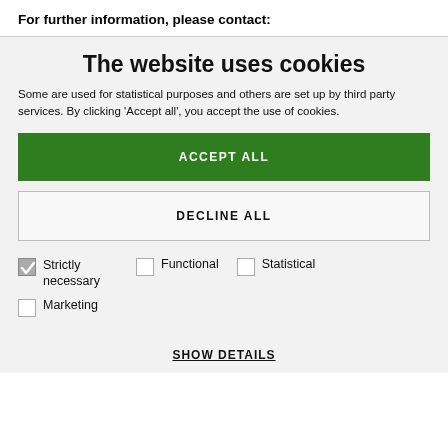For further information, please contact:
The website uses cookies
Some are used for statistical purposes and others are set up by third party services. By clicking ‘Accept all’, you accept the use of cookies.
ACCEPT ALL
DECLINE ALL
Strictly necessary
Functional
Statistical
Marketing
SHOW DETAILS